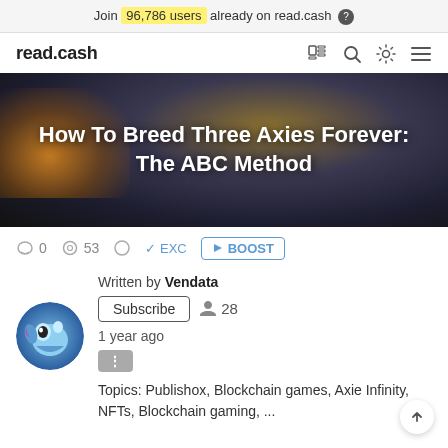Join 96,786 users already on read.cash
read.cash
How To Breed Three Axies Forever: The ABC Method
0  53  ✓ EXC  BOOST
Written by Vendata
Subscribe  28
1 year ago
Topics: Publishox, Blockchain games, Axie Infinity, NFTs, Blockchain gaming, ...